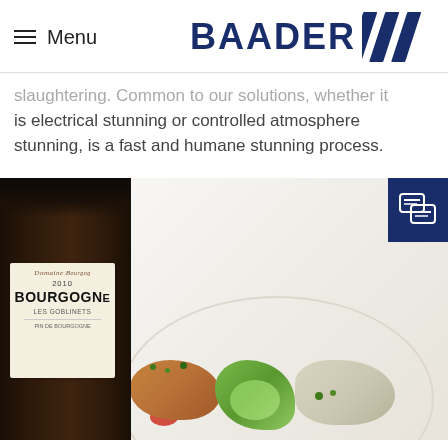Menu | BAADER ///
slaughtering. Common to our solutions, whether it is electrical stunning or controlled atmosphere stunning, is a fast and humane stunning process.
[Figure (photo): A food photo showing a plate with food (salad, meat, garnish) and a bottle of Domaine Bourgogne Les Goblinets 2010 wine in the foreground. There is also a dark blue chat/message button overlay in the top-right area.]